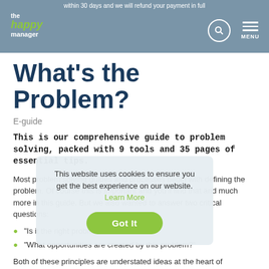within 30 days and we will refund your payment in full
[Figure (logo): The Happy Manager logo with green italic 'happy' text and white 'the' and 'manager' labels, with search icon and MENU icon on the right]
What's the Problem?
E-guide
This is our comprehensive guide to problem solving, packed with 9 tools and 35 pages of essential tips.
Most problem solving guides and processes begin with defining the problem. Of course this is important and you'll find that and much more in this guide. But we also wanted to answer two critical questions:
“Is it the right problem to solve?”
“What opportunities are created by this problem?”
Both of these principles are understated ideas at the heart of
This website uses cookies to ensure you get the best experience on our website. Learn More
Got It